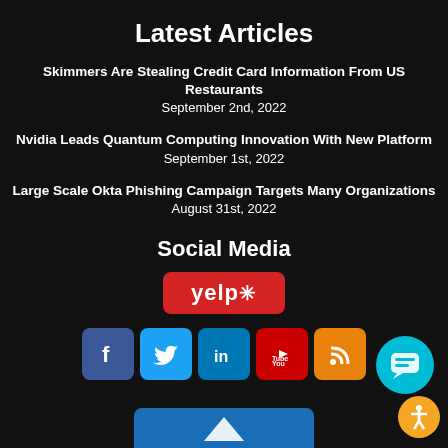Latest Articles
Skimmers Are Stealing Credit Card Information From US Restaurants
September 2nd, 2022
Nvidia Leads Quantum Computing Innovation With New Platform
September 1st, 2022
Large Scale Okta Phishing Campaign Targets Many Organizations
August 31st, 2022
Social Media
[Figure (logo): Yelp logo button - red rounded rectangle with white 'yelp*' text]
[Figure (logo): Row of social media icons: Facebook (blue f), Twitter (blue bird), LinkedIn (blue in), YouTube (red play), RSS (orange signal). Plus a teal chat bubble icon and orange accessibility icon in bottom right.]